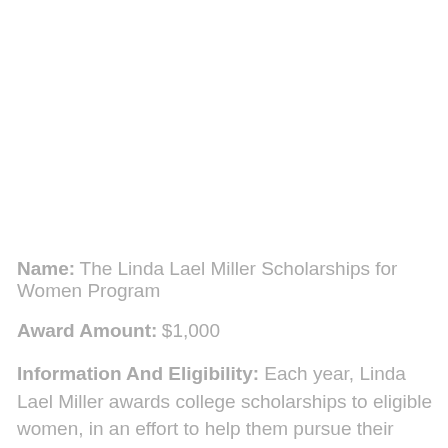Name: The Linda Lael Miller Scholarships for Women Program
Award Amount: $1,000
Information And Eligibility: Each year, Linda Lael Miller awards college scholarships to eligible women, in an effort to help them pursue their goals and improve their life through the achievement of a higher education.